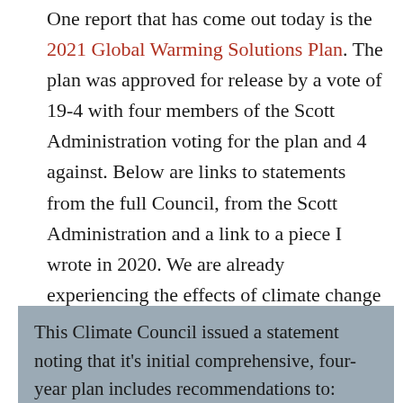One report that has come out today is the 2021 Global Warming Solutions Plan. The plan was approved for release by a vote of 19-4 with four members of the Scott Administration voting for the plan and 4 against. Below are links to statements from the full Council, from the Scott Administration and a link to a piece I wrote in 2020. We are already experiencing the effects of climate change in our towns and our local and state economies are vulnerable to much larger states and countries actions to address climate change. We will be affected whether we act or not. The difference is how much.
This Climate Council issued a statement noting that it's initial comprehensive, four-year plan includes recommendations to: